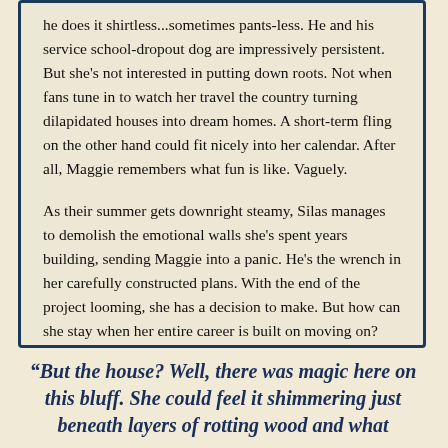he does it shirtless...sometimes pants-less. He and his service school-dropout dog are impressively persistent. But she's not interested in putting down roots. Not when fans tune in to watch her travel the country turning dilapidated houses into dream homes. A short-term fling on the other hand could fit nicely into her calendar. After all, Maggie remembers what fun is like. Vaguely.
As their summer gets downright steamy, Silas manages to demolish the emotional walls she's spent years building, sending Maggie into a panic. He's the wrench in her carefully constructed plans. With the end of the project looming, she has a decision to make. But how can she stay when her entire career is built on moving on?
“But the house? Well, there was magic here on this bluff. She could feel it shimmering just beneath layers of rotting wood and what